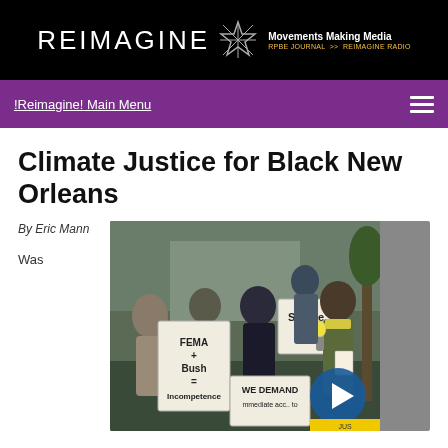REIMAGINE — Movements Making Media — RPBE JOURNAL >> REIMAGINE RADIO
!Reimagine! Main Menu
Climate Justice for Black New Orleans
By Eric Mann
Was
[Figure (photo): Protest photo showing demonstrators holding signs including 'FEMA + Bush = Incompetence', 'Shame...', 'We Demand immediate access to...' A woman speaks into a microphone on the right side.]